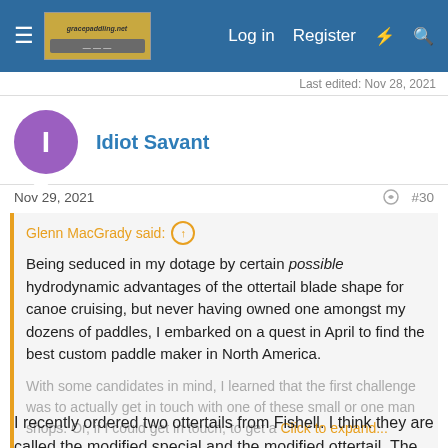≡  [logo]  Log in  Register  ⚡  🔍
Last edited: Nov 28, 2021
I  Idiot Savant
Nov 29, 2021  #30
Glenn MacGrady said: ↑
Being seduced in my dotage by certain possible hydrodynamic advantages of the ottertail blade shape for canoe cruising, but never having owned one amongst my dozens of paddles, I embarked on a quest in April to find the best custom paddle maker in North America.
With some candidates in mind, I learned that the first challenge was to actually get in touch with one of these small or one man shops. Or, if I could get in touch, to get a... Click to expand...
I recently ordered two ottertails from Fishell. I think they are called the modified special and the modified ottertail. The price